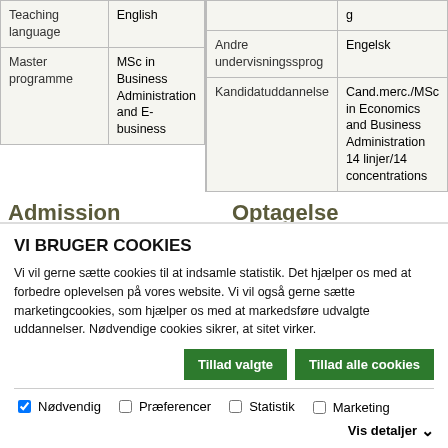|  |  |
| --- | --- |
| Teaching language | English |
| Master programme | MSc in Business Administration and E-business |
|  |  |
| --- | --- |
|  | g |
| Andre undervisningssprog | Engelsk |
| Kandidatuddannelse | Cand.merc./MSc in Economics and Business Administration 14 linjer/14 concentrations |
Admission
Optagelse
| Grade point | 2022: 10,1 |
| Adgangskvotient | 2022: 8,6 |
VI BRUGER COOKIES
Vi vil gerne sætte cookies til at indsamle statistik. Det hjælper os med at forbedre oplevelsen på vores website. Vi vil også gerne sætte marketingcookies, som hjælper os med at markedsføre udvalgte uddannelser. Nødvendige cookies sikrer, at sitet virker.
Tillad valgte | Tillad alle cookies
✓ Nødvendig  ☐ Præferencer  ☐ Statistik  ☐ Marketing  Vis detaljer